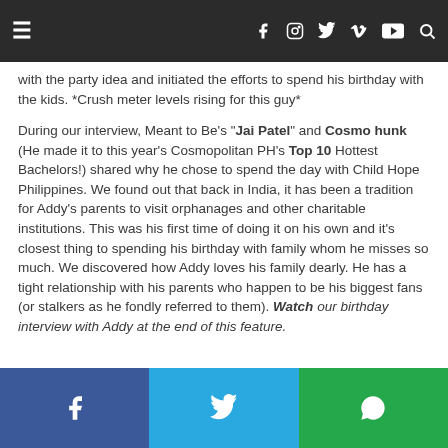≡  f  ◎  🐦  V  YT  🔍
with the party idea and initiated the efforts to spend his birthday with the kids. *Crush meter levels rising for this guy*
During our interview, Meant to Be's "Jai Patel" and Cosmo hunk (He made it to this year's Cosmopolitan PH's Top 10 Hottest Bachelors!) shared why he chose to spend the day with Child Hope Philippines. We found out that back in India, it has been a tradition for Addy's parents to visit orphanages and other charitable institutions. This was his first time of doing it on his own and it's closest thing to spending his birthday with family whom he misses so much. We discovered how Addy loves his family dearly. He has a tight relationship with his parents who happen to be his biggest fans (or stalkers as he fondly referred to them). Watch our birthday interview with Addy at the end of this feature.